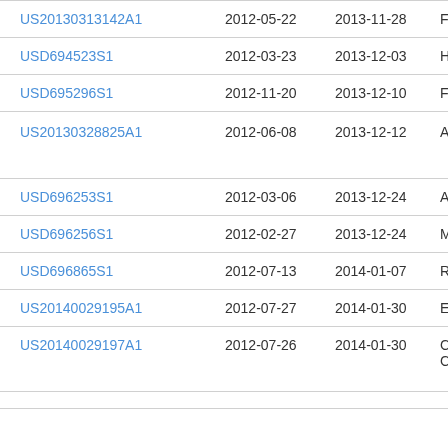| Patent Number | Filed | Published | Title |
| --- | --- | --- | --- |
| US20130313142A1 | 2012-05-22 | 2013-11-28 | Fer |
| USD694523S1 | 2012-03-23 | 2013-12-03 | Htc |
| USD695296S1 | 2012-11-20 | 2013-12-10 | Fu- |
| US20130328825A1 | 2012-06-08 | 2013-12-12 | App |
| USD696253S1 | 2012-03-06 | 2013-12-24 | App |
| USD696256S1 | 2012-02-27 | 2013-12-24 | Ma |
| USD696865S1 | 2012-07-13 | 2014-01-07 | Rin |
| US20140029195A1 | 2012-07-27 | 2014-01-30 | Ear |
| US20140029197A1 | 2012-07-26 | 2014-01-30 | Cas Co. |